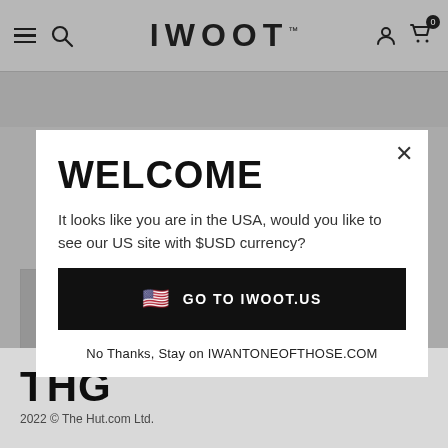IWOOT™
[Figure (screenshot): IWOOT e-commerce website background with navigation bar showing hamburger menu, search icon, IWOOT logo, user and cart icons with badge showing 0]
WELCOME
It looks like you are in the USA, would you like to see our US site with $USD currency?
GO TO IWOOT.US
No Thanks, Stay on IWANTONEOFTHOSE.COM
THG
2022 © The Hut.com Ltd.